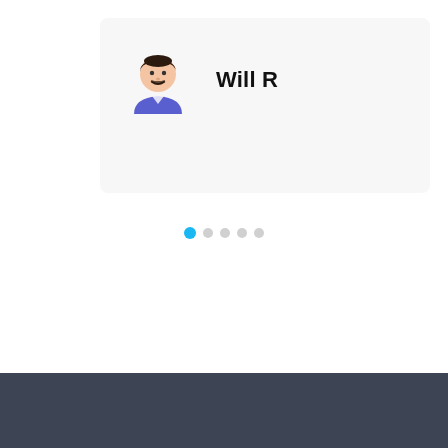[Figure (illustration): User profile card with cartoon avatar of a person with dark hair wearing a blue/purple shirt, next to the name 'Will R' in bold text, on a light gray background card]
Will R
[Figure (infographic): Pagination indicator row with 5 dots: first dot is filled blue (active), remaining 4 dots are light gray]
APPLY NOW